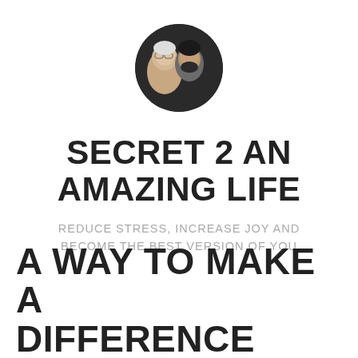[Figure (photo): Circular avatar photo of two people (a woman with short light hair and glasses, and a man with dark hair and beard) against a dark background.]
SECRET 2 AN AMAZING LIFE
REDUCE STRESS, INCREASE JOY AND BECOME THE BEST VERSION OF YOU
A WAY TO MAKE A DIFFERENCE